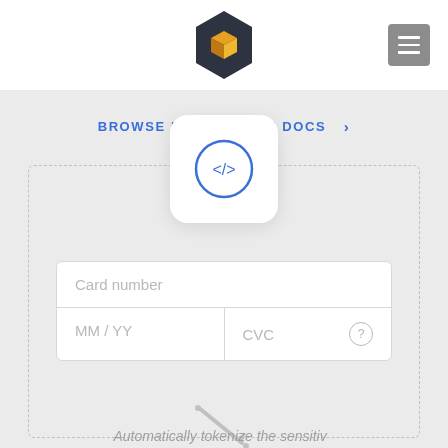[Figure (logo): Dark hexagon logo with gold/orange cube center]
[Figure (other): Gray hamburger menu button (three horizontal lines)]
BROWSE INTEGRATION DOCS >
[Figure (illustration): White rounded-square card with blue circle containing </> code icon, overlapping a dashed-border card UI mockup showing a card payment form with Card number, MM/YY, and CVC fields, plus a pencil/stylus illustration below]
Automatically tokenize the sensitive